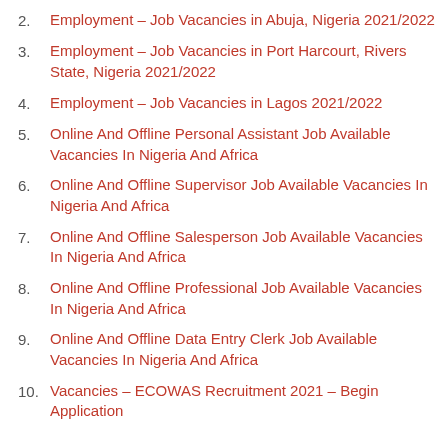2. Employment – Job Vacancies in Abuja, Nigeria 2021/2022
3. Employment – Job Vacancies in Port Harcourt, Rivers State, Nigeria 2021/2022
4. Employment – Job Vacancies in Lagos 2021/2022
5. Online And Offline Personal Assistant Job Available Vacancies In Nigeria And Africa
6. Online And Offline Supervisor Job Available Vacancies In Nigeria And Africa
7. Online And Offline Salesperson Job Available Vacancies In Nigeria And Africa
8. Online And Offline Professional Job Available Vacancies In Nigeria And Africa
9. Online And Offline Data Entry Clerk Job Available Vacancies In Nigeria And Africa
10. Vacancies – ECOWAS Recruitment 2021 – Begin Application